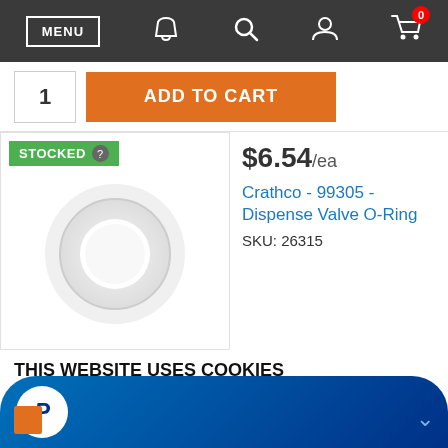MENU navigation bar with phone, search, user, and cart icons
1   ADD TO CART
[Figure (photo): Product image area showing STOCKED badge and an O-Ring white circular rubber ring on white background]
$6.54/ea
Crathco - 99305 - Dispense Valve O-Ring
SKU: 26315
THIS WEBSITE USES COOKIES
We use cookies to personalise content and ads, to provide social media features and to analyse our traffic. We also share information about your use of our site with our social media, advertising and analytics partners who may combine it with other information that you've provided to them or that they've collected from your use of their services. By clicking OK you consent to the use of cookies on our site.
[Figure (logo): PayPal blue gradient button with PayPal P logo in white circle]